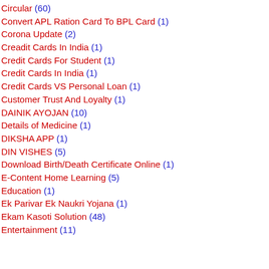Circular (60)
Convert APL Ration Card To BPL Card (1)
Corona Update (2)
Creadit Cards In India (1)
Credit Cards For Student (1)
Credit Cards In India (1)
Credit Cards VS Personal Loan (1)
Customer Trust And Loyalty (1)
DAINIK AYOJAN (10)
Details of Medicine (1)
DIKSHA APP (1)
DIN VISHES (5)
Download Birth/Death Certificate Online (1)
E-Content Home Learning (5)
Education (1)
Ek Parivar Ek Naukri Yojana (1)
Ekam Kasoti Solution (48)
Entertainment (11)